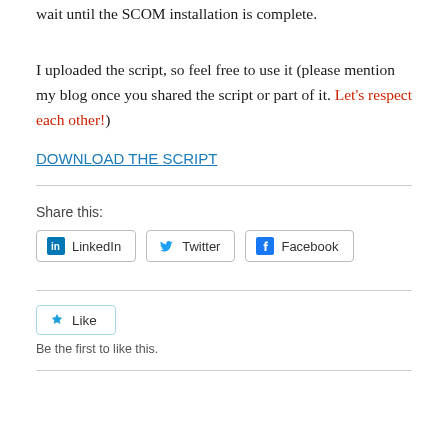wait until the SCOM installation is complete.
I uploaded the script, so feel free to use it (please mention my blog once you shared the script or part of it. Let’s respect each other!)
DOWNLOAD THE SCRIPT
Share this:
LinkedIn  Twitter  Facebook
Like
Be the first to like this.